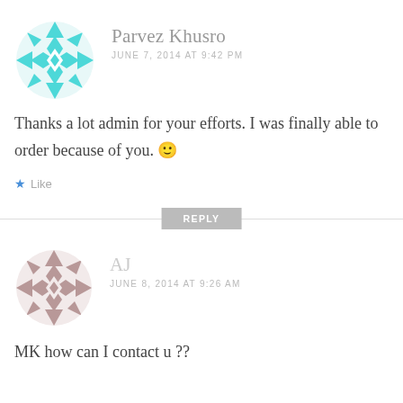[Figure (illustration): Circular avatar with teal/cyan geometric pattern (diamonds and triangles) for user Parvez Khusro]
Parvez Khusro
JUNE 7, 2014 AT 9:42 PM
Thanks a lot admin for your efforts. I was finally able to order because of you. 🙂
Like
REPLY
[Figure (illustration): Circular avatar with mauve/pink-gray geometric pattern (diamonds and triangles) for user AJ]
AJ
JUNE 8, 2014 AT 9:26 AM
MK how can I contact u ??